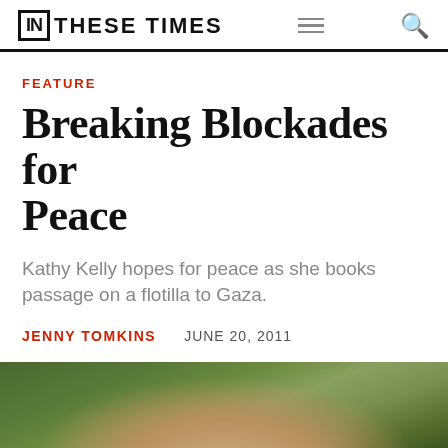IN THESE TIMES
FEATURE
Breaking Blockades for Peace
Kathy Kelly hopes for peace as she books passage on a flotilla to Gaza.
JENNY TOMKINS   JUNE 20, 2011
[Figure (photo): Outdoor photograph with green foliage background, partially visible person at bottom of frame]